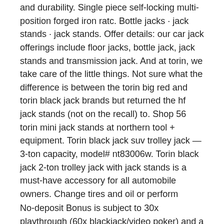and durability. Single piece self-locking multi-position forged iron ratc. Bottle jacks · jack stands · jack stands. Offer details: our car jack offerings include floor jacks, bottle jack, jack stands and transmission jack. And at torin, we take care of the little things. Not sure what the difference is between the torin big red and torin black jack brands but returned the hf jack stands (not on the recall) to. Shop 56 torin mini jack stands at northern tool + equipment. Torin black jack suv trolley jack — 3-ton capacity, model# nt83006w. Torin black jack 2-ton trolley jack with jack stands is a must-have accessory for all automobile owners. Change tires and oil or perform
No-deposit Bonus is subject to 30x playthrough (60x blackjack/video poker) and a $100 max cash out, torin black jack jack stands.
These bonuses are great to look out for when you're scouring our list of the best new